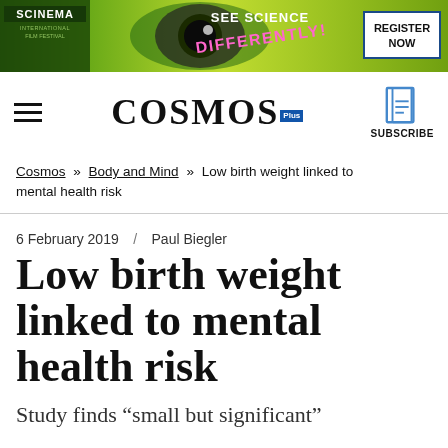[Figure (illustration): Banner advertisement for SCINEMA International Film Festival with green eye graphic, 'SEE SCIENCE DIFFERENTLY!' text, and 'REGISTER NOW' button]
COSMOS Plus | Hamburger menu | Subscribe
Cosmos » Body and Mind » Low birth weight linked to mental health risk
6 February 2019 / Paul Biegler
Low birth weight linked to mental health risk
Study finds “small but significant”